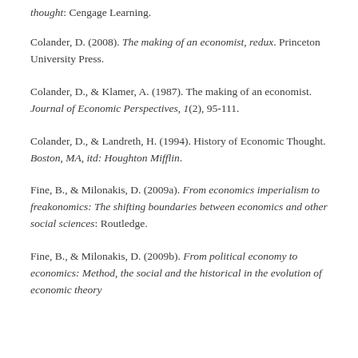thought: Cengage Learning.
Colander, D. (2008). The making of an economist, redux. Princeton University Press.
Colander, D., & Klamer, A. (1987). The making of an economist. Journal of Economic Perspectives, 1(2), 95-111.
Colander, D., & Landreth, H. (1994). History of Economic Thought. Boston, MA, itd: Houghton Mifflin.
Fine, B., & Milonakis, D. (2009a). From economics imperialism to freakonomics: The shifting boundaries between economics and other social sciences: Routledge.
Fine, B., & Milonakis, D. (2009b). From political economy to economics: Method, the social and the historical in the evolution of economic theory